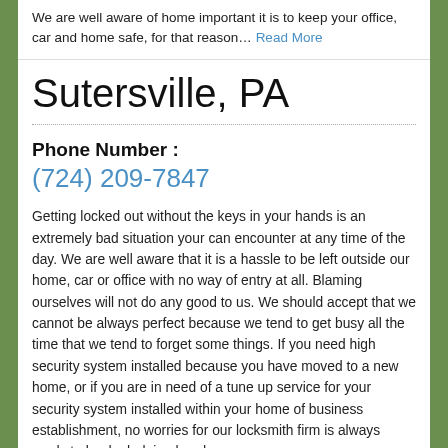We are well aware of home important it is to keep your office, car and home safe, for that reason… Read More
Sutersville, PA
Phone Number :
(724) 209-7847
Getting locked out without the keys in your hands is an extremely bad situation your can encounter at any time of the day. We are well aware that it is a hassle to be left outside our home, car or office with no way of entry at all. Blaming ourselves will not do any good to us. We should accept that we cannot be always perfect because we tend to get busy all the time that we tend to forget some things. If you need high security system installed because you have moved to a new home, or if you are in need of a tune up service for your security system installed within your home of business establishment, no worries for our locksmith firm is always ready to lend a helping hand.